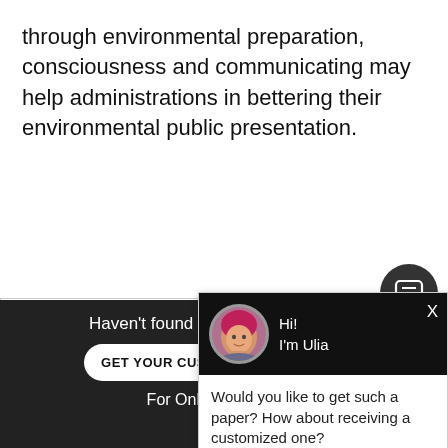through environmental preparation, consciousness and communicating may help administrations in bettering their environmental public presentation.
[Figure (screenshot): Promo box partially visible: 'We Will Write Essay For Yo... $13.' with dark rounded button 'OR']
[Figure (screenshot): Chat popup with avatar of woman with pink hair. Header 'Hi! I'm Ulia'. Body: 'Would you like to get such a paper? How about receiving a customized one? Check it out']
[Figure (screenshot): Dark bottom bar: 'Haven't found the Essay You Want?' button 'GET YOUR CUSTOM ESSAY SAMPLE' and 'For Only $13.90/page'. Also chat icon button and X close.]